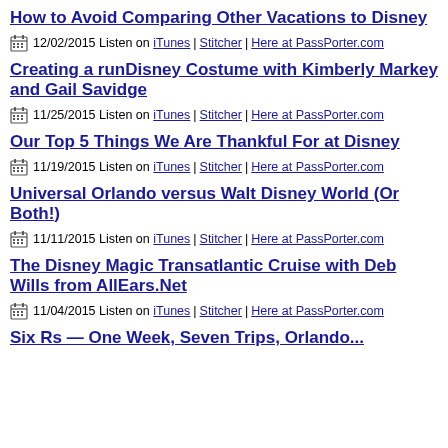How to Avoid Comparing Other Vacations to Disney
12/02/2015 Listen on iTunes | Stitcher | Here at PassPorter.com
Creating a runDisney Costume with Kimberly Markey and Gail Savidge
11/25/2015 Listen on iTunes | Stitcher | Here at PassPorter.com
Our Top 5 Things We Are Thankful For at Disney
11/19/2015 Listen on iTunes | Stitcher | Here at PassPorter.com
Universal Orlando versus Walt Disney World (Or Both!)
11/11/2015 Listen on iTunes | Stitcher | Here at PassPorter.com
The Disney Magic Transatlantic Cruise with Deb Wills from AllEars.Net
11/04/2015 Listen on iTunes | Stitcher | Here at PassPorter.com
Six Rs — One Week, Seven Trips, Orlando...